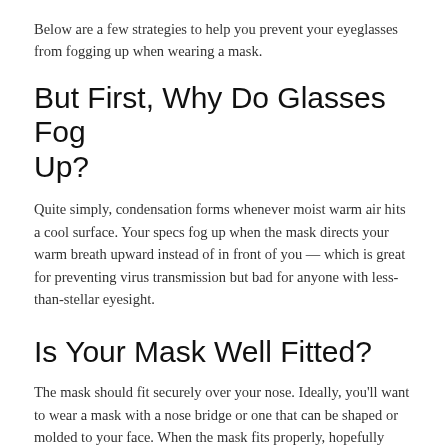Below are a few strategies to help you prevent your eyeglasses from fogging up when wearing a mask.
But First, Why Do Glasses Fog Up?
Quite simply, condensation forms whenever moist warm air hits a cool surface. Your specs fog up when the mask directs your warm breath upward instead of in front of you — which is great for preventing virus transmission but bad for anyone with less-than-stellar eyesight.
Is Your Mask Well Fitted?
The mask should fit securely over your nose. Ideally, you'll want to wear a mask with a nose bridge or one that can be shaped or molded to your face. When the mask fits properly, hopefully most of your breath will go through it, not out the top or sides.